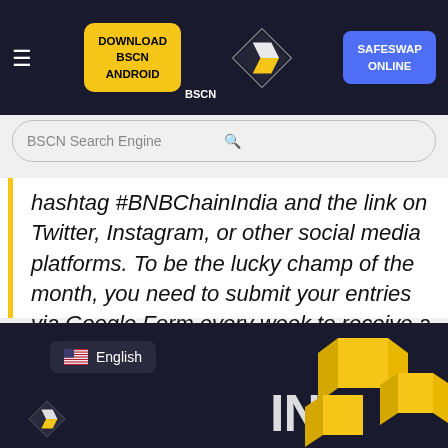[Figure (screenshot): BSCN website header with hamburger menu, Download BSCN Android yellow button, BSCN diamond logo, and SafeSwap Online blue button on dark background]
[Figure (screenshot): BSCN Search Engine search bar with magnifying glass icon]
hashtag #BNBChainIndia and the link on Twitter, Instagram, or other social media platforms. To be the lucky champ of the month, you need to submit your entries via Google Form every week to receive a Swag pack (total of 3 champs).
[Figure (screenshot): Footer area with dark background, English language badge with US flag, partial BSCN logo, yellow 3D cube graphics, and 'IN' text]